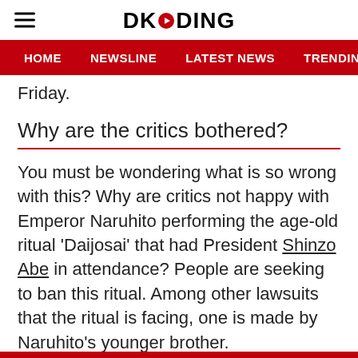DKODING
HOME  NEWSLINE  LATEST NEWS  TRENDING TODAY  ENT
Friday.
Why are the critics bothered?
You must be wondering what is so wrong with this? Why are critics not happy with Emperor Naruhito performing the age-old ritual 'Daijosai' that had President Shinzo Abe in attendance? People are seeking to ban this ritual. Among other lawsuits that the ritual is facing, one is made by Naruhito's younger brother.